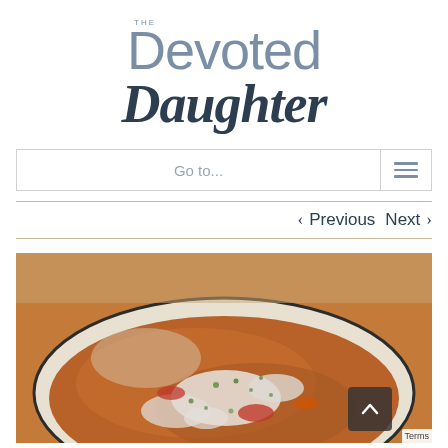THE Devoted Daughter
Go to...
< Previous   Next >
[Figure (photo): A white bowl containing soup or stew with visible chunks of fish or seafood, tomatoes, and herbs in a broth, photographed from above at a slight angle.]